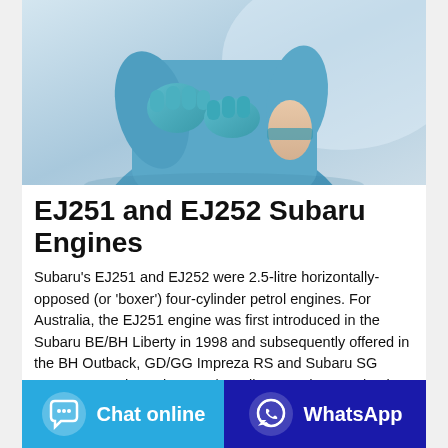[Figure (photo): Person wearing blue scrubs and blue latex gloves, pulling on or adjusting the glove on their wrist, close-up torso shot on a light background.]
EJ251 and EJ252 Subaru Engines
Subaru's EJ251 and EJ252 were 2.5-litre horizontally-opposed (or 'boxer') four-cylinder petrol engines. For Australia, the EJ251 engine was first introduced in the Subaru BE/BH Liberty in 1998 and subsequently offered in the BH Outback, GD/GG Impreza RS and Subaru SG Forester. For the Subaru BL/BP Liberty and BP Outback, the EJ251 was replaced by the EJ252 engine.
Chat online
WhatsApp